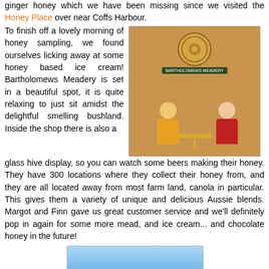ginger honey which we have been missing since we visited the Honey Place over near Coffs Harbour.
To finish off a lovely morning of honey sampling, we found ourselves licking away at some honey based ice cream! Bartholomews Meadery is set in a beautiful spot, it is quite relaxing to just sit amidst the delightful smelling bushland. Inside the shop there is also a glass hive display, so you can watch some beers making their honey. They have 300 locations where they collect their honey from, and they are all located away from most farm land, canola in particular. This gives them a variety of unique and delicious Aussie blends. Margot and Finn gave us great customer service and we'll definitely pop in again for some more mead, and ice cream... and chocolate honey in the future!
[Figure (photo): Two people sitting at a yellow table inside Bartholomews Meadery, with a brick wall and circular logo in background]
[Figure (photo): Blue sky photo, partially visible at bottom of page]